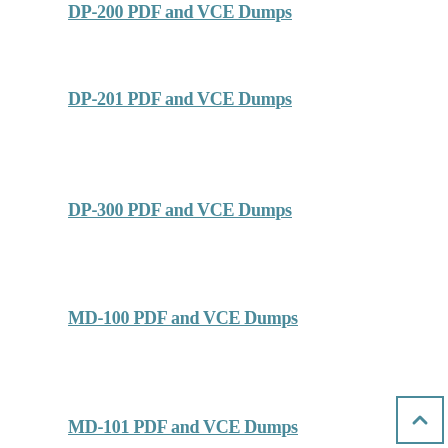DP-200 PDF and VCE Dumps
DP-201 PDF and VCE Dumps
DP-300 PDF and VCE Dumps
MD-100 PDF and VCE Dumps
MD-101 PDF and VCE Dumps
MS-100 PDF and VCE Dumps
MS-101 PDF and VCE Dumps
MS-200 PDF and VCE Dumps
MS-201 PDF and VCE Dumps
MS-300 PDF and VCE Dumps